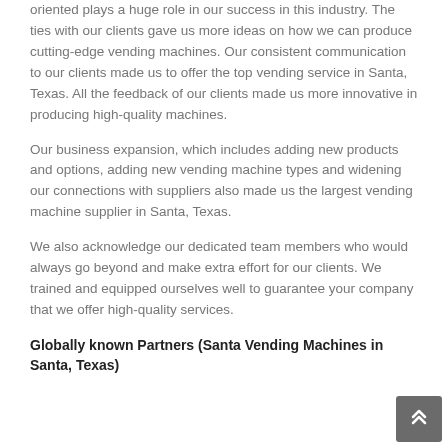oriented plays a huge role in our success in this industry. The ties with our clients gave us more ideas on how we can produce cutting-edge vending machines. Our consistent communication to our clients made us to offer the top vending service in Santa, Texas. All the feedback of our clients made us more innovative in producing high-quality machines.
Our business expansion, which includes adding new products and options, adding new vending machine types and widening our connections with suppliers also made us the largest vending machine supplier in Santa, Texas.
We also acknowledge our dedicated team members who would always go beyond and make extra effort for our clients. We trained and equipped ourselves well to guarantee your company that we offer high-quality services.
Globally known Partners (Santa Vending Machines in Santa, Texas)